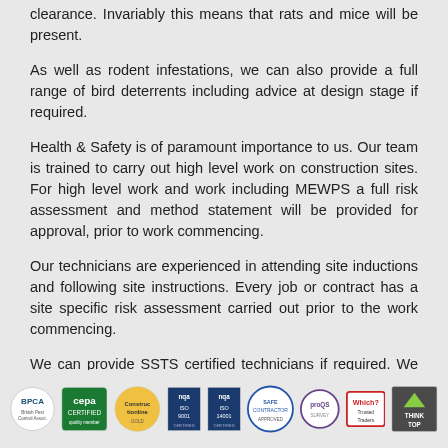clearance. Invariably this means that rats and mice will be present.
As well as rodent infestations, we can also provide a full range of bird deterrents including advice at design stage if required.
Health & Safety is of paramount importance to us. Our team is trained to carry out high level work on construction sites. For high level work and work including MEWPS a full risk assessment and method statement will be provided for approval, prior to work commencing.
Our technicians are experienced in attending site inductions and following site instructions. Every job or contract has a site specific risk assessment carried out prior to the work commencing.
We can provide SSTS certified technicians if required. We are CHAS approved as well as members of Constructionline.
[Figure (logo): Row of certification logos: BPCA, cepa certified, Constructionline, nqa ISO 9001, nqa ISO 14001, Safecontractor Approved, proQS, Which? Trusted Traders, Think Top]